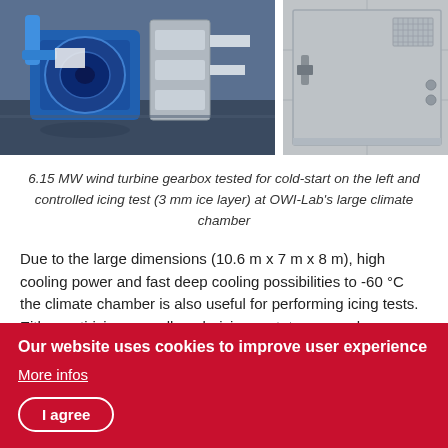[Figure (photo): Photo of a 6.15 MW wind turbine gearbox being tested for cold-start inside a large climate chamber (left photo shows blue machinery and silver ductwork)]
[Figure (photo): Photo of the interior wall/door of OWI-Lab's large climate chamber (right photo shows grey panelled walls and vented door)]
6.15 MW wind turbine gearbox tested for cold-start on the left and controlled icing test (3 mm ice layer) at OWI-Lab's large climate chamber
Due to the large dimensions (10.6 m x 7 m x 8 m), high cooling power and fast deep cooling possibilities to -60 °C the climate chamber is also useful for performing icing tests. Either anti-icing as well as de-icing prototypes can be validated by using ice-spray guns in the climate chamber, in
Our website uses cookies to improve user experience
More infos
I agree